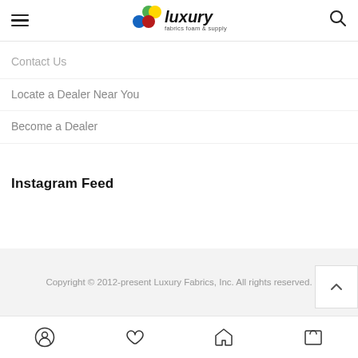Luxury Fabrics Foam & Supply - navigation header
Contact Us
Locate a Dealer Near You
Become a Dealer
Instagram Feed
Copyright © 2012-present Luxury Fabrics, Inc. All rights reserved.